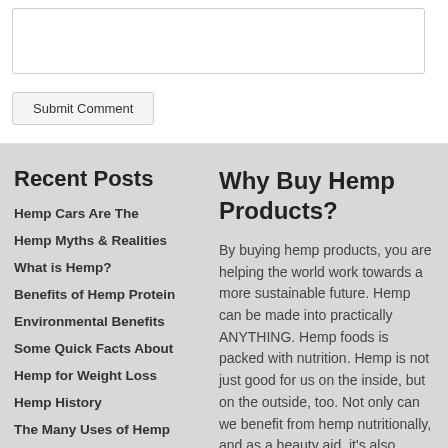[comment textarea]
Submit Comment
Recent Posts
Hemp Cars Are The
Hemp Myths & Realities
What is Hemp?
Benefits of Hemp Protein
Environmental Benefits
Some Quick Facts About
Hemp for Weight Loss
Hemp History
The Many Uses of Hemp
The Key Benefits of
Why Buy Hemp Products?
By buying hemp products, you are helping the world work towards a more sustainable future. Hemp can be made into practically ANYTHING. Hemp foods is packed with nutrition. Hemp is not just good for us on the inside, but on the outside, too. Not only can we benefit from hemp nutritionally, and as a beauty aid, it's also beneficial from an